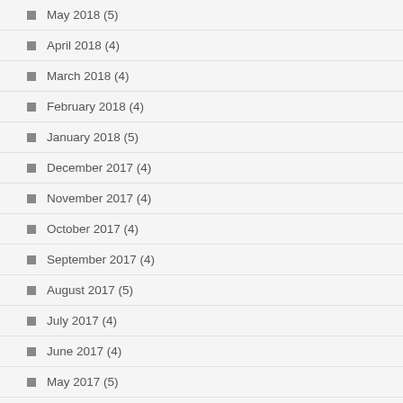May 2018 (5)
April 2018 (4)
March 2018 (4)
February 2018 (4)
January 2018 (5)
December 2017 (4)
November 2017 (4)
October 2017 (4)
September 2017 (4)
August 2017 (5)
July 2017 (4)
June 2017 (4)
May 2017 (5)
April 2017 (4)
March 2017 (5)